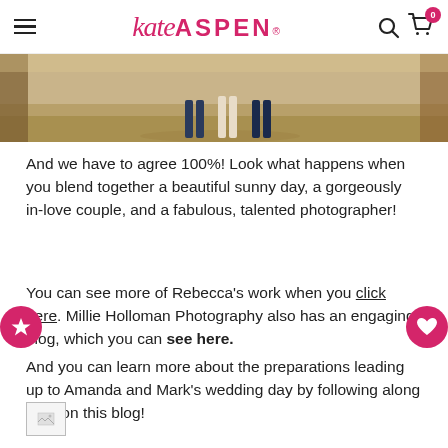Kate Aspen
[Figure (photo): Cropped photo showing legs of people standing on grassy/dirt ground in outdoor sunlight, with tree trunks on the sides]
And we have to agree 100%! Look what happens when you blend together a beautiful sunny day, a gorgeously in-love couple, and a fabulous, talented photographer!
You can see more of Rebecca's work when you click here. Millie Holloman Photography also has an engaging blog, which you can see here.
And you can learn more about the preparations leading up to Amanda and Mark's wedding day by following along here on this blog!
[Figure (photo): Small partially loaded image placeholder at bottom left]